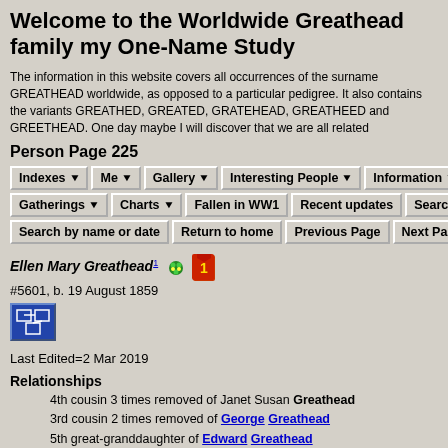Welcome to the Worldwide Greathead family my One-Name Study
The information in this website covers all occurrences of the surname GREATHEAD worldwide, as opposed to a particular pedigree. It also contains the variants GREATHED, GREATED, GRATEHEAD, GREATHEED and GREETHEAD. One day maybe I will discover that we are all related
Person Page 225
Navigation buttons: Indexes, Me, Gallery, Interesting People, Information, Gatherings, Charts, Fallen in WW1, Recent updates, Search by ID, Search by name or date, Return to home, Previous Page, Next Page
Ellen Mary Greathead1 #5601, b. 19 August 1859
Last Edited=2 Mar 2019
Relationships
4th cousin 3 times removed of Janet Susan Greathead
3rd cousin 2 times removed of George Greathead
5th great-granddaughter of Edward Greathead